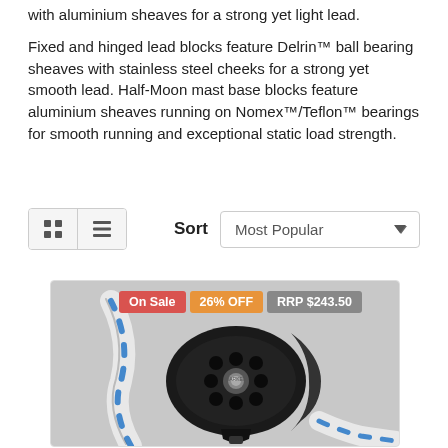...with aluminium sheaves for a strong yet light lead.
Fixed and hinged lead blocks feature Delrin™ ball bearing sheaves with stainless steel cheeks for a strong yet smooth lead. Half-Moon mast base blocks feature aluminium sheaves running on Nomex™/Teflon™ bearings for smooth running and exceptional static load strength.
[Figure (screenshot): Sort bar with grid/list view toggle buttons and a 'Most Popular' dropdown selector]
[Figure (photo): Product photo of a black sailing block/pulley with white and blue rope, showing badges: On Sale, 26% OFF, RRP $243.50]